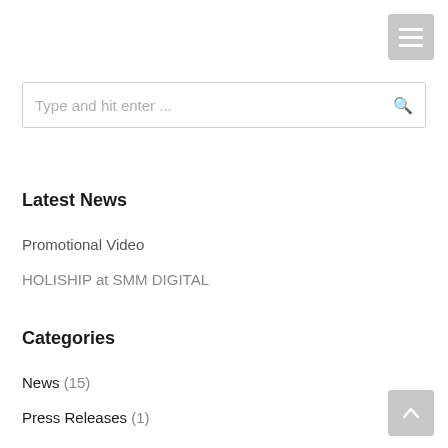[Figure (other): Hamburger menu button (three horizontal white bars on grey background) in top-right corner]
Type and hit enter ...
Latest News
Promotional Video
HOLISHIP at SMM DIGITAL
Categories
News (15)
Press Releases (1)
[Figure (other): Scroll-to-top arrow button (upward arrow on grey background) in bottom-right corner]